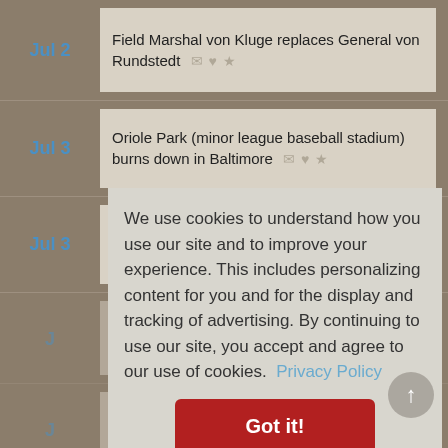Jul 2 — Field Marshal von Kluge replaces General von Rundstedt
Jul 3 — Oriole Park (minor league baseball stadium) burns down in Baltimore
Jul 3 — US V-III-E Army corp opens assault on Coutances Cotentin
Jul (partial, obscured by cookie dialog)
Jul (partial, obscured by cookie dialog)
Jul (partial, obscured by cookie dialog)
Jul 4 — Gestapo arrests German Social Democrat Julius (truncated)
We use cookies to understand how you use our site and to improve your experience. This includes personalizing content for you and for the display and tracking of advertising. By continuing to use our site, you accept and agree to our use of cookies. Privacy Policy
Got it!